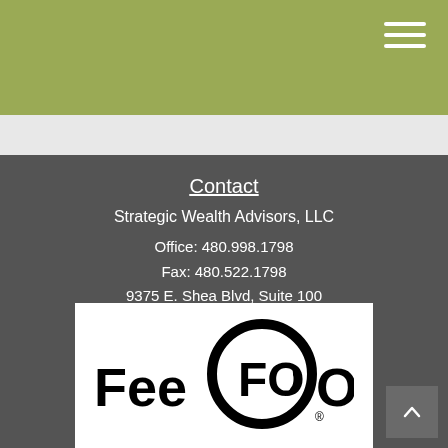Contact
Strategic Wealth Advisors, LLC
Office: 480.998.1798
Fax: 480.522.1798
9375 E. Shea Blvd, Suite 100
Scottsdale, AZ 85260
Info@Xpertadvice.com
[Figure (logo): Fee Only logo with large FO letters in a circle design, registered trademark]